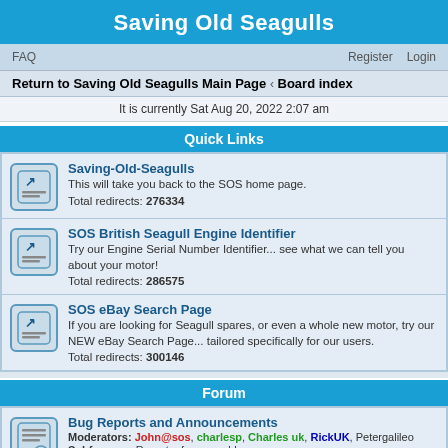Saving Old Seagulls
FAQ    Register    Login
Return to Saving Old Seagulls Main Page · Board index
It is currently Sat Aug 20, 2022 2:07 am
Quick Links
Saving-Old-Seagulls
This will take you back to the SOS home page.
Total redirects: 276334
SOS British Seagull Engine Identifier
Try our Engine Serial Number Identifier... see what we can tell you about your motor!
Total redirects: 286575
SOS eBay Search Page
If you are looking for Seagull spares, or even a whole new motor, try our NEW eBay Search Page... tailored specifically for our users.
Total redirects: 300146
Forum
Bug Reports and Announcements
Moderators: John@sos, charlesp, Charles uk, RickUK, Petergalileo
Subforum: Report a forum problem
Topics: 41